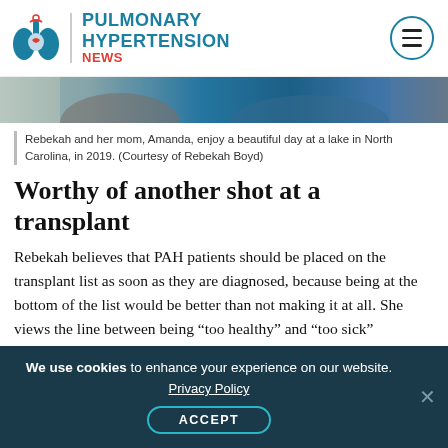PULMONARY HYPERTENSION NEWS
[Figure (photo): Partial photo of Rebekah and her mom Amanda at a lake in North Carolina, showing hair and blue clothing against a lake background.]
Rebekah and her mom, Amanda, enjoy a beautiful day at a lake in North Carolina, in 2019. (Courtesy of Rebekah Boyd)
Worthy of another shot at a transplant
Rebekah believes that PAH patients should be placed on the transplant list as soon as they are diagnosed, because being at the bottom of the list would be better than not making it at all. She views the line between being “too healthy” and “too sick”
We use cookies to enhance your experience on our website. Privacy Policy ACCEPT